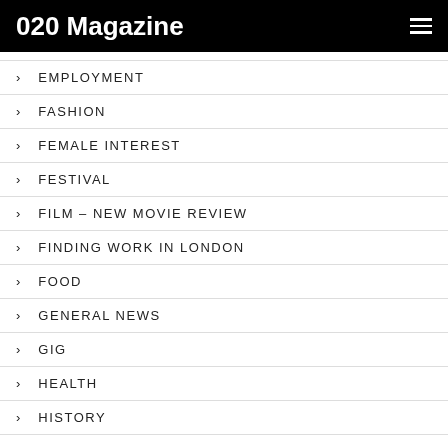020 Magazine
EMPLOYMENT
FASHION
FEMALE INTEREST
FESTIVAL
FILM – NEW MOVIE REVIEW
FINDING WORK IN LONDON
FOOD
GENERAL NEWS
GIG
HEALTH
HISTORY